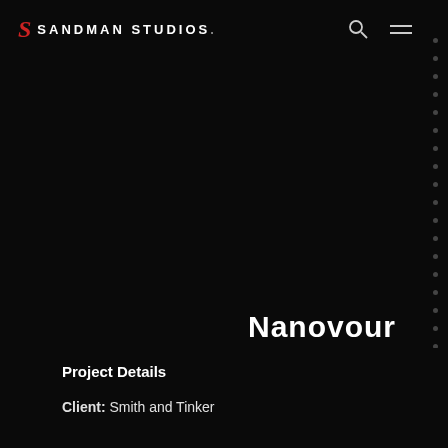SANDMAN STUDIOS.
Nanovour
Smith & Tinker asked us to build over 200 3D animated characters with each having anywhere from 3 to 12 different animated sets. We then were asked to help develop the animation cycles so that the animations would fit into our clients game platform.
Project Details
Client: Smith and Tinker